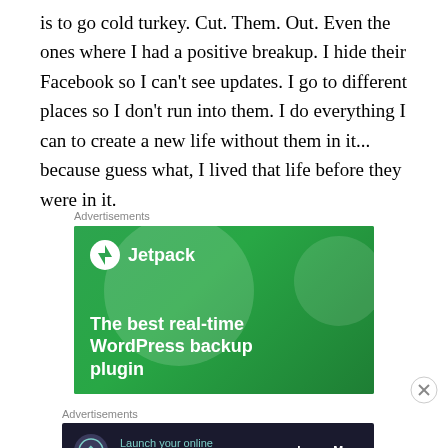is to go cold turkey. Cut. Them. Out. Even the ones where I had a positive breakup. I hide their Facebook so I can't see updates. I go to different places so I don't run into them. I do everything I can to create a new life without them in it... because guess what, I lived that life before they were in it.
Advertisements
[Figure (screenshot): Jetpack WordPress plugin advertisement with green background, large geometric circle, Jetpack logo, and text 'The best real-time WordPress backup plugin']
Advertisements
[Figure (screenshot): Dark banner ad: 'Launch your online course with WordPress' with Learn More button]